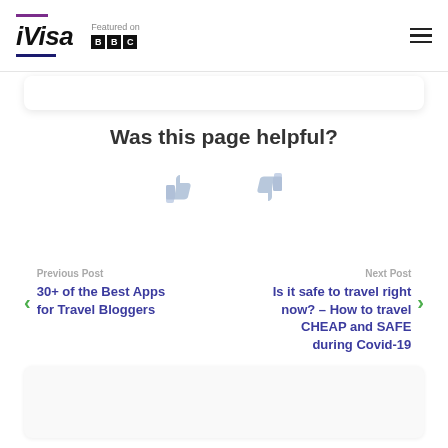iVisa — Featured on BBC
Was this page helpful?
[Figure (illustration): Thumbs up and thumbs down icons for page feedback]
Previous Post
30+ of the Best Apps for Travel Bloggers
Next Post
Is it safe to travel right now? – How to travel CHEAP and SAFE during Covid-19